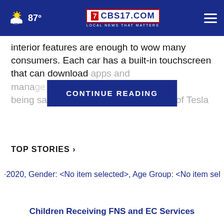87° CBS17.COM LOCAL NEWS THAT MATTERS
interior features are enough to wow many consumers. Each car has a built-in touchscreen that can download apps and manage [the driving] experience. That being said, it's [the popularity] of Tesla
CONTINUE READING
TOP STORIES ›
·2020, Gender: <No item selected>, Age Group: <No item sel
Children Receiving FNS and EC Services